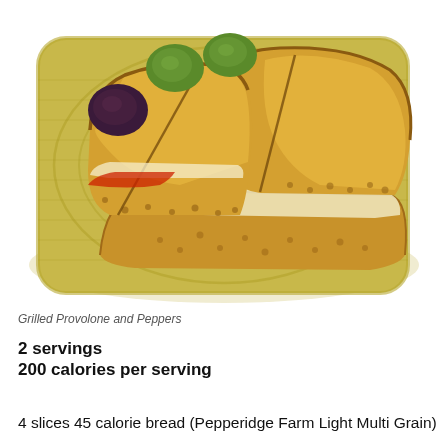[Figure (photo): A grilled provolone and peppers sandwich on multigrain toast, cut and served on a decorative plate with green and black olives on the side.]
Grilled Provolone and Peppers
2 servings
200 calories per serving
4 slices 45 calorie bread (Pepperidge Farm Light Multi Grain)